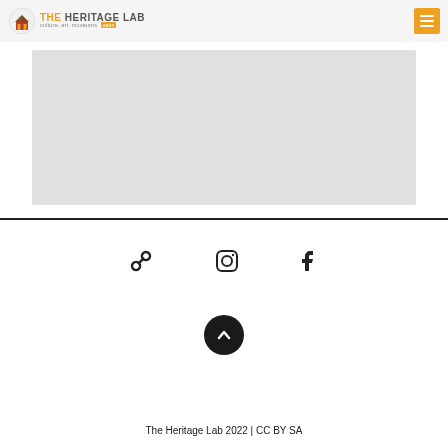The Heritage Lab – culture. art. museums. open
[Figure (other): Gray placeholder image area]
[Figure (other): Social media icons: link, Instagram, Facebook]
[Figure (other): Back to top circular button with upward arrow]
The Heritage Lab 2022 | CC BY SA